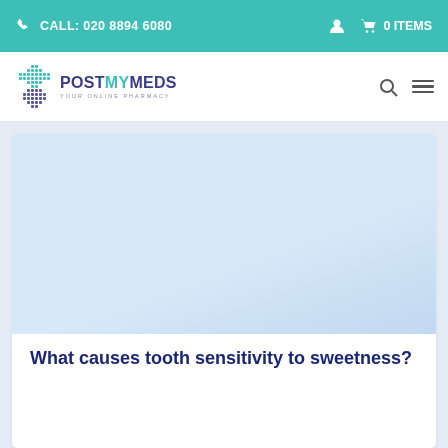CALL: 020 8894 6080 | 0 ITEMS
[Figure (logo): PostMyMeds online pharmacy logo with teal cross icon]
[Figure (photo): Article hero image area (light blue/white placeholder)]
What causes tooth sensitivity to sweetness?